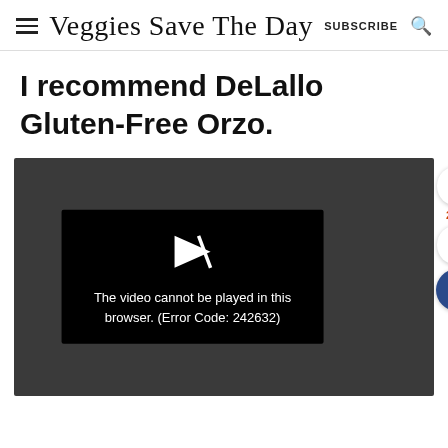Veggies Save The Day  SUBSCRIBE
I recommend DeLallo Gluten-Free Orzo.
[Figure (screenshot): Embedded video player showing an error message: 'The video cannot be played in this browser. (Error Code: 242632)' on a dark background with a play-button icon. Side UI buttons (up arrow, heart, search) are visible on the right.]